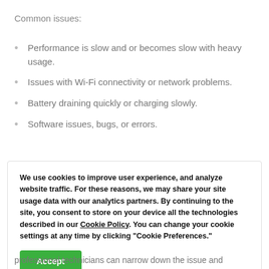Common issues:
Performance is slow and or becomes slow with heavy usage.
Issues with Wi-Fi connectivity or network problems.
Battery draining quickly or charging slowly.
Software issues, bugs, or errors.
We use cookies to improve user experience, and analyze website traffic. For these reasons, we may share your site usage data with our analytics partners. By continuing to the site, you consent to store on your device all the technologies described in our Cookie Policy. You can change your cookie settings at any time by clicking "Cookie Preferences."
Accept
professional technicians can narrow down the issue and